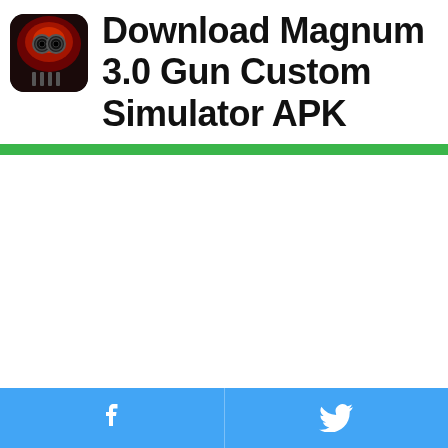[Figure (screenshot): App icon for Magnum 3.0 Gun Custom Simulator — dark background with a revolver gun barrel pointing forward, red fiery smoke, and four vertical lines at bottom]
Download Magnum 3.0 Gun Custom Simulator APK
[Figure (other): Green horizontal divider bar]
[Figure (other): White content area with a small green badge/button in the bottom-right corner, and a blue social sharing footer bar with Facebook and Twitter icons]